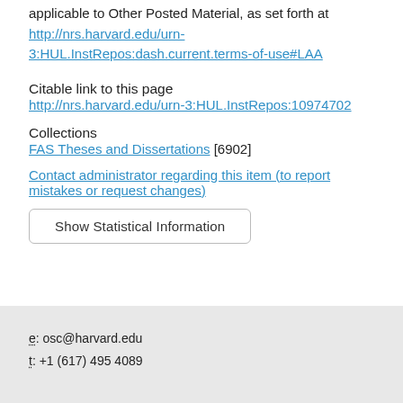This article is made available under the terms and conditions applicable to Other Posted Material, as set forth at http://nrs.harvard.edu/urn-3:HUL.InstRepos:dash.current.terms-of-use#LAA
Citable link to this page
http://nrs.harvard.edu/urn-3:HUL.InstRepos:10974702
Collections
FAS Theses and Dissertations [6902]
Contact administrator regarding this item (to report mistakes or request changes)
Show Statistical Information
e: osc@harvard.edu
t: +1 (617) 495 4089